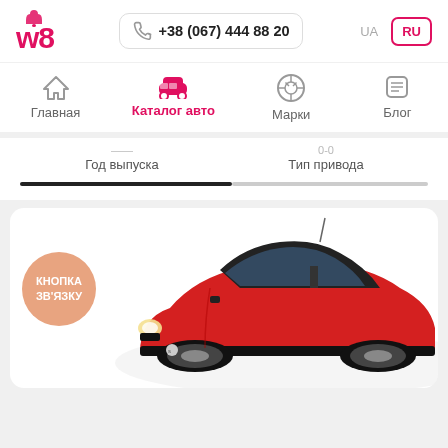[Figure (logo): w8 logo in red/pink color]
+38 (067) 444 88 20
UA  RU
[Figure (infographic): Navigation bar with icons: Главная (home), Каталог авто (car - active in red), Марки (VW logo), Блог (list icon)]
Год выпуска
Тип привода
[Figure (photo): Red Smart Fortwo small car on white background with orange circular badge saying КНОПКА ЗВ'ЯЗКУ]